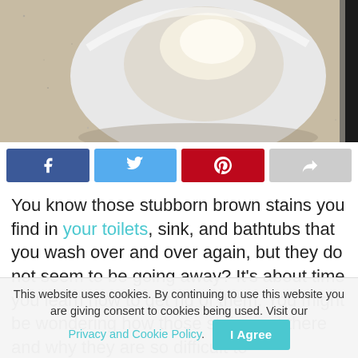[Figure (photo): Close-up overhead photo of a white toilet bowl on a beige speckled tile floor, with a dark wall strip visible on the right side.]
[Figure (infographic): Social share bar with four buttons: Facebook (blue), Twitter (light blue), Pinterest (red), and a share/forward button (grey).]
You know those stubborn brown stains you find in your toilets, sink, and bathtubs that you wash over and over again, but they do not seem to be going away? It's about time you learn how to get rid of them. You might be wondering how those stains got there and why they are so difficult to
This website uses cookies. By continuing to use this website you are giving consent to cookies being used. Visit our Privacy and Cookie Policy.   I Agree